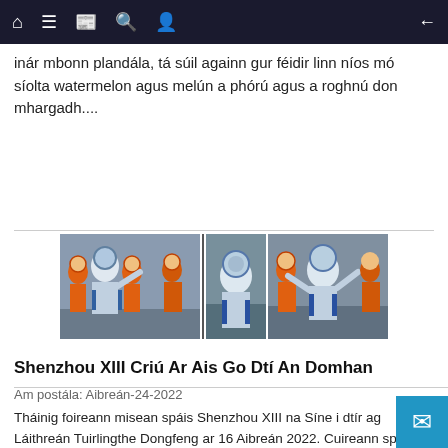Navigation bar with home, menu, news, search, profile icons and back arrow
inár mbonn plandála, tá súil againn gur féidir linn níos mó síolta watermelon agus melún a phórú agus a roghnú don mhargadh....
[Figure (photo): Two side-by-side photos of Chinese astronauts in orange and blue spacesuits being assisted by ground crew in orange suits]
Shenzhou XIII Criú Ar Ais Go Dtí An Domhan
Am postála: Aibreán-24-2022
Tháinig foireann misean spáis Shenzhou XIII na Síne i dtír ag Láithreán Tuirlingthe Dongfeng ar 16 Aibreán 2022. Cuireann spásairí Síneacha (ó chlé) Zhai Zhigang, Wang Yaping, agus Ye Guangfu de spásárthach Shenzhou XIII a misean stáisiún spáis sé